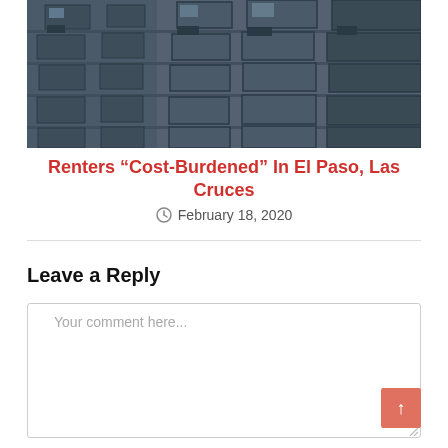[Figure (photo): Exterior of a multi-story apartment building with balconies and air conditioning units, shot from a low angle looking up.]
Renters “Cost-Burdened” In El Paso, Las Cruces
February 18, 2020
Leave a Reply